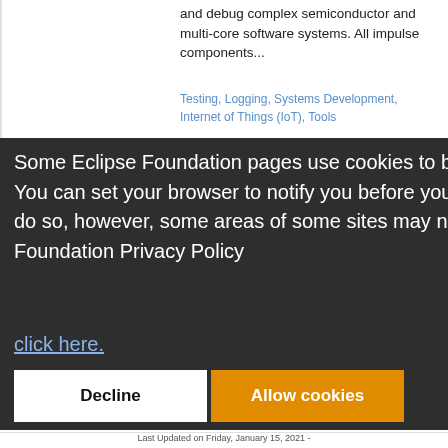and debug complex semiconductor and multi-core software systems. All impulse components...
Testing, Logging, Systems Development, Internet of Things (IoT), Tools
Some Eclipse Foundation pages use cookies to better serve you when you return to the site. You can set your browser to notify you before you receive a cookie or turn off cookies. If you do so, however, some areas of some sites may not function properly. To read Eclipse Foundation Privacy Policy click here.
Decline
Allow cookies
Last Updated on Friday, January 15, 2021 -